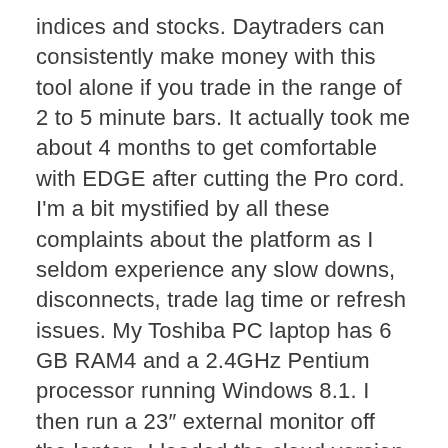indices and stocks. Daytraders can consistently make money with this tool alone if you trade in the range of 2 to 5 minute bars. It actually took me about 4 months to get comfortable with EDGE after cutting the Pro cord. I'm a bit mystified by all these complaints about the platform as I seldom experience any slow downs, disconnects, trade lag time or refresh issues. My Toshiba PC laptop has 6 GB RAM4 and a 2.4GHz Pentium processor running Windows 8.1. I then run a 23″ external monitor off the laptop. I loaded the cloud version but did not like the citrix interface and deleted it.
What did make a noticeable difference in watchlist refresh speed was when I hardwired the laptop to the router with a CAT5 cable and disabled the wireless